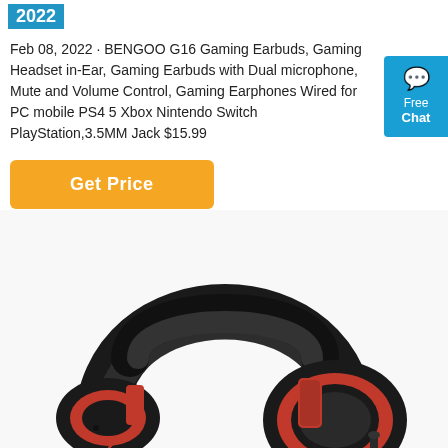2022
Feb 08, 2022 · BENGOO G16 Gaming Earbuds, Gaming Headset in-Ear, Gaming Earbuds with Dual microphone, Mute and Volume Control, Gaming Earphones Wired for PC mobile PS4 5 Xbox Nintendo Switch PlayStation,3.5MM Jack $15.99
Get Price
[Figure (photo): Red and black over-ear gaming headset shown from the top, with padded headband and ear cups visible.]